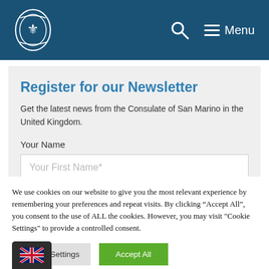San Marino Consulate — Navigation header with logo, search and menu
Register for our Newsletter
Get the latest news from the Consulate of San Marino in the United Kingdom.
Your Name
Your First Name*
We use cookies on our website to give you the most relevant experience by remembering your preferences and repeat visits. By clicking “Accept All”, you consent to the use of ALL the cookies. However, you may visit "Cookie Settings" to provide a controlled consent.
Cookie Settings
Accept All